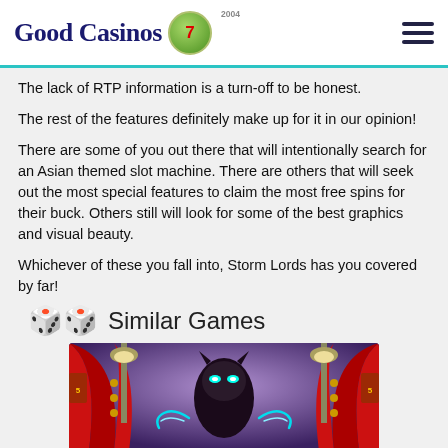Good Casinos [logo] 2004
The lack of RTP information is a turn-off to be honest.
The rest of the features definitely make up for it in our opinion!
There are some of you out there that will intentionally search for an Asian themed slot machine. There are others that will seek out the most special features to claim the most free spins for their buck. Others still will look for some of the best graphics and visual beauty.
Whichever of these you fall into, Storm Lords has you covered by far!
Similar Games
[Figure (screenshot): Screenshot of a slot machine game featuring a dark villain character with glowing eyes, flanked by red curtains and ornate lamp posts, purple atmospheric background.]